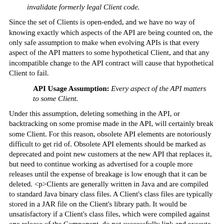invalidate formerly legal Client code.
Since the set of Clients is open-ended, and we have no way of knowing exactly which aspects of the API are being counted on, the only safe assumption to make when evolving APIs is that every aspect of the API matters to some hypothetical Client, and that any incompatible change to the API contract will cause that hypothetical Client to fail.
API Usage Assumption: Every aspect of the API matters to some Client.
Under this assumption, deleting something in the API, or backtracking on some promise made in the API, will certainly break some Client. For this reason, obsolete API elements are notoriously difficult to get rid of. Obsolete API elements should be marked as deprecated and point new customers at the new API that replaces it, but need to continue working as advertised for a couple more releases until the expense of breakage is low enough that it can be deleted. <p>Clients are generally written in Java and are compiled to standard Java binary class files. A Client's class files are typically stored in a JAR file on the Client's library path. It would be unsatisfactory if a Client's class files, which were compiled against one release of the Component, do not successfully link and execute correctly with all